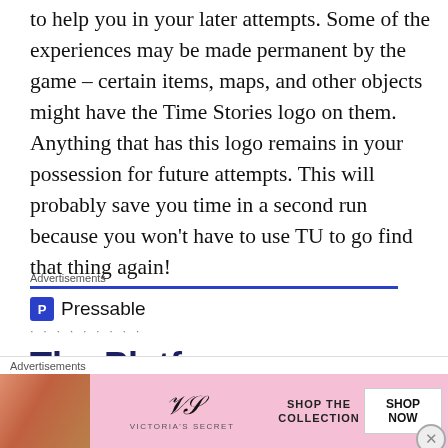to help you in your later attempts. Some of the experiences may be made permanent by the game – certain items, maps, and other objects might have the Time Stories logo on them. Anything that has this logo remains in your possession for future attempts. This will probably save you time in a second run because you won't have to use TU to go find that thing again!
[Figure (screenshot): Pressable advertisement with blue header line, Pressable logo and name, dots row, and 'The Platform Where WordPress' text]
[Figure (screenshot): Victoria's Secret advertisement banner with model photo, VS logo, SHOP THE COLLECTION text, and SHOP NOW button]